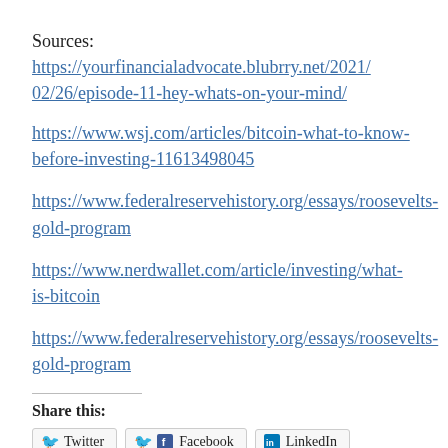Sources: https://yourfinancialadvocate.blubrry.net/2021/02/26/episode-11-hey-whats-on-your-mind/
https://www.wsj.com/articles/bitcoin-what-to-know-before-investing-11613498045
https://www.federalreservehistory.org/essays/roosevelts-gold-program
https://www.nerdwallet.com/article/investing/what-is-bitcoin
https://www.federalreservehistory.org/essays/roosevelts-gold-program
Share this:
Twitter  Facebook  LinkedIn